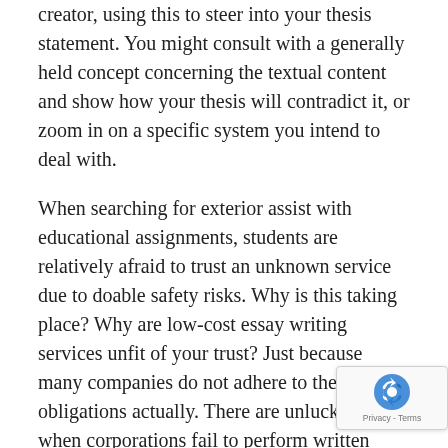creator, using this to steer into your thesis statement. You might consult with a generally held concept concerning the textual content and show how your thesis will contradict it, or zoom in on a specific system you intend to deal with.
When searching for exterior assist with educational assignments, students are relatively afraid to trust an unknown service due to doable safety risks. Why is this taking place? Why are low-cost essay writing services unfit of your trust? Just because many companies do not adhere to their obligations actually. There are unlucky cases, when corporations fail to perform written work on time or complete the assignments at a really poor stage. Or worse, once they violate the settlement and disclose your private data.